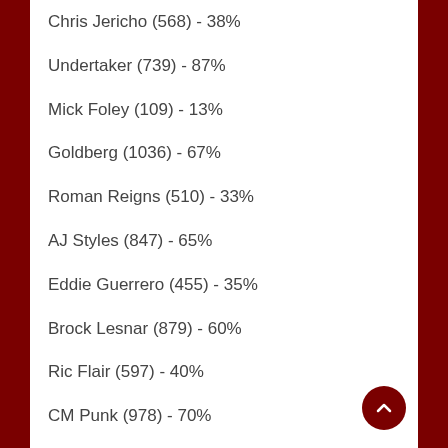Chris Jericho (568) - 38%
Undertaker (739) - 87%
Mick Foley (109) - 13%
Goldberg (1036) - 67%
Roman Reigns (510) - 33%
AJ Styles (847) - 65%
Eddie Guerrero (455) - 35%
Brock Lesnar (879) - 60%
Ric Flair (597) - 40%
CM Punk (978) - 70%
Seth Rollins (419) - 30%